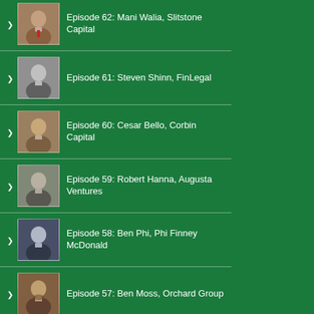Episode 62: Mani Walia, Slitstone Capital
Episode 61: Steven Shinn, FinLegal
Episode 60: Cesar Bello, Corbin Capital
Episode 59: Robert Hanna, Augusta Ventures
Episode 58: Ben Phi, Phi Finney McDonald
Episode 57: Ben Moss, Orchard Group